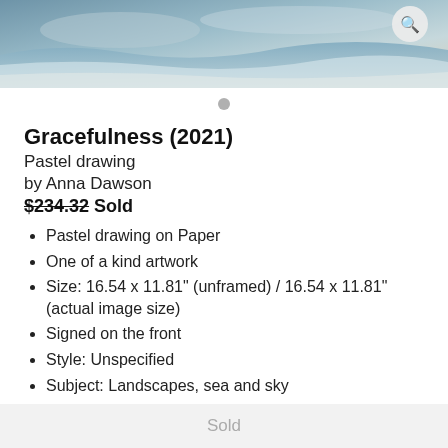[Figure (photo): Ocean/sea scene photo with wave and sandy beach, with a search magnifier icon overlay in top right corner]
Gracefulness (2021)
Pastel drawing
by Anna Dawson
$234.32 Sold
Pastel drawing on Paper
One of a kind artwork
Size: 16.54 x 11.81" (unframed) / 16.54 x 11.81" (actual image size)
Signed on the front
Style: Unspecified
Subject: Landscapes, sea and sky
Sold